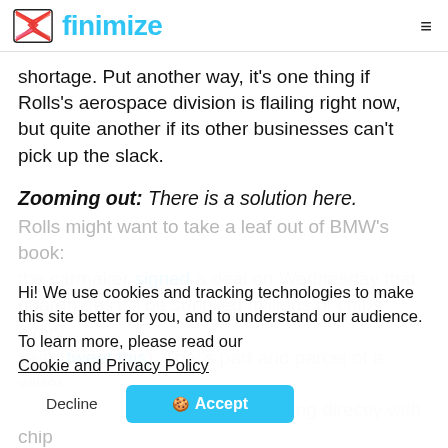finimize
shortage. Put another way, it's one thing if Rolls's aerospace division is flailing right now, but quite another if its other businesses can't pick up the slack.
Zooming out: There is a solution here.
Rolls might want to take a leaf out of BMW's book: the carmaker signed a deal on Wednesday that guarantees it'll be supplied millions of chips every year (tweet this). That's part and parcel of a wider trend, where carmakers are dealing directly with chip manufacturers – rather than traditional parts suppliers – in a bid to avoid a repeat of this year's production shutdowns.
Hi! We use cookies and tracking technologies to make this site better for you, and to understand our audience. To learn more, please read our Cookie and Privacy Policy